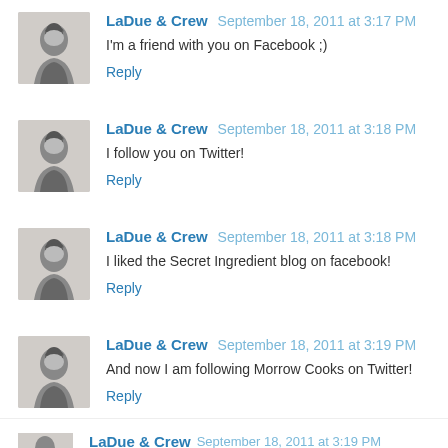LaDue & Crew September 18, 2011 at 3:17 PM
I'm a friend with you on Facebook ;)
Reply
LaDue & Crew September 18, 2011 at 3:18 PM
I follow you on Twitter!
Reply
LaDue & Crew September 18, 2011 at 3:18 PM
I liked the Secret Ingredient blog on facebook!
Reply
LaDue & Crew September 18, 2011 at 3:19 PM
And now I am following Morrow Cooks on Twitter!
Reply